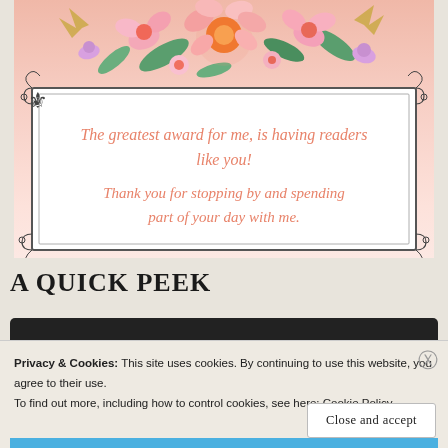[Figure (illustration): Decorative floral thank-you card with pink gradient background, ornate border frame, floral arrangement at top, and cursive text reading: 'The greatest award for me, is having readers like you! Thank you for stopping by and spending part of your day with me.']
A QUICK PEEK
Privacy & Cookies: This site uses cookies. By continuing to use this website, you agree to their use.
To find out more, including how to control cookies, see here: Cookie Policy
Close and accept